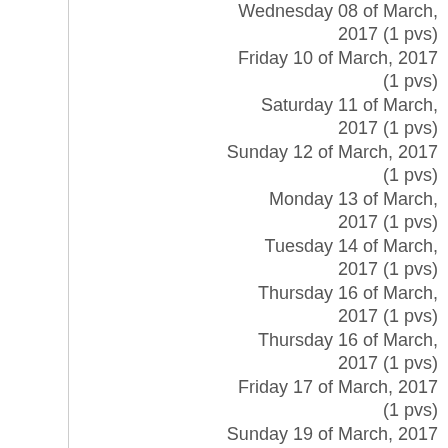Wednesday 08 of March, 2017 (1 pvs)
Friday 10 of March, 2017 (1 pvs)
Saturday 11 of March, 2017 (1 pvs)
Sunday 12 of March, 2017 (1 pvs)
Monday 13 of March, 2017 (1 pvs)
Tuesday 14 of March, 2017 (1 pvs)
Thursday 16 of March, 2017 (1 pvs)
Thursday 16 of March, 2017 (1 pvs)
Friday 17 of March, 2017 (1 pvs)
Sunday 19 of March, 2017